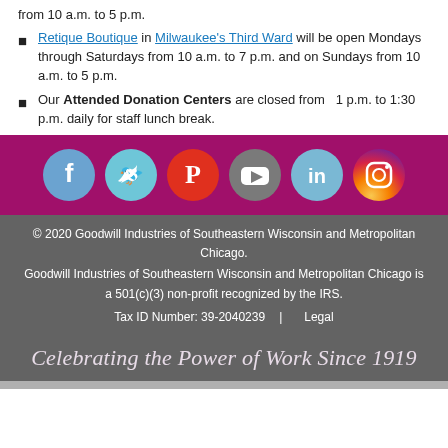from 10 a.m. to 5 p.m.
Retique Boutique in Milwaukee's Third Ward will be open Mondays through Saturdays from 10 a.m. to 7 p.m. and on Sundays from 10 a.m. to 5 p.m.
Our Attended Donation Centers are closed from 1 p.m. to 1:30 p.m. daily for staff lunch break.
[Figure (infographic): Social media icons row: Facebook, Twitter, Pinterest, YouTube, LinkedIn, Instagram on magenta/purple background]
© 2020 Goodwill Industries of Southeastern Wisconsin and Metropolitan Chicago.
Goodwill Industries of Southeastern Wisconsin and Metropolitan Chicago is a 501(c)(3) non-profit recognized by the IRS.
Tax ID Number: 39-2040239  |  Legal
Celebrating the Power of Work Since 1919